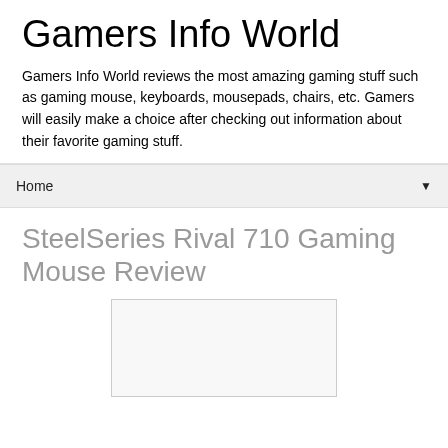Gamers Info World
Gamers Info World reviews the most amazing gaming stuff such as gaming mouse, keyboards, mousepads, chairs, etc. Gamers will easily make a choice after checking out information about their favorite gaming stuff.
Home ▼
SteelSeries Rival 710 Gaming Mouse Review
[Figure (other): Image placeholder area for SteelSeries Rival 710 Gaming Mouse Review article]